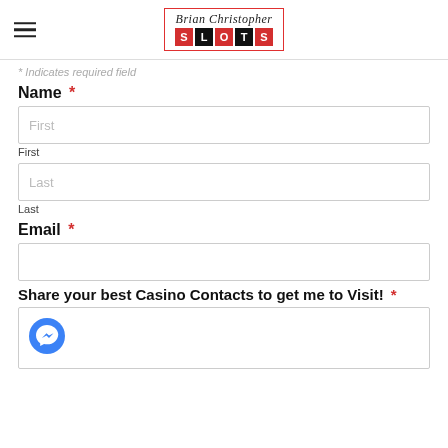[Figure (logo): Brian Christopher Slots logo with script text above red and black letter tiles spelling SLOTS, inside a red border]
* Indicates required field
Name *
First
First
Last
Last
Email *
Share your best Casino Contacts to get me to Visit! *
[Figure (illustration): Facebook Messenger blue chat bubble icon with lightning bolt checkmark]